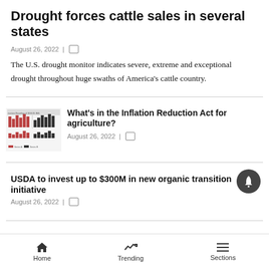Drought forces cattle sales in several states
August 26, 2022 |
The U.S. drought monitor indicates severe, extreme and exceptional drought throughout huge swaths of America's cattle country.
[Figure (screenshot): Thumbnail image showing bar charts related to Inflation Reduction Act baseline and $18.05 billion figure]
What's in the Inflation Reduction Act for agriculture?
August 26, 2022 |
USDA to invest up to $300M in new organic transition initiative
August 26, 2022 |
USDA announces appointments to Equity Commission
Home  Trending  Sections